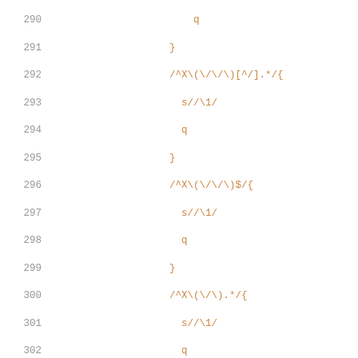[Figure (screenshot): Source code editor showing shell script lines 290-319 with line numbers, syntax highlighting in orange, teal, and gray colors]